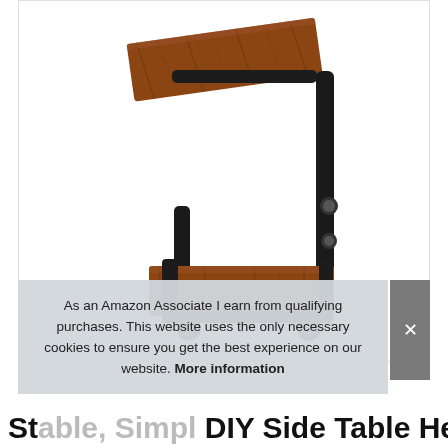[Figure (photo): Product photo of a rustic brown wooden C-shaped side table with black metal frame and casters (wheels). The table has an adjustable height mechanism on the right vertical post, a top surface and a lower shelf, both made of brown wood-grain material.]
As an Amazon Associate I earn from qualifying purchases. This website uses the only necessary cookies to ensure you get the best experience on our website. More information
Stable, Simple DIY Side Table Height